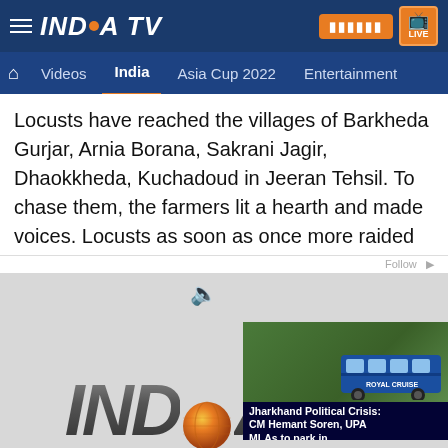INDIA TV - Videos | India | Asia Cup 2022 | Entertainment
Locusts have reached the villages of Barkheda Gurjar, Arnia Borana, Sakrani Jagir, Dhaokkheda, Kuchadoud in Jeeran Tehsil. To chase them, the farmers lit a hearth and made voices. Locusts as soon as once more raided the Rajasthan facet in Mandsaur.
[Figure (screenshot): India TV news website screenshot showing logo watermark and a video overlay thumbnail with caption 'Jharkhand Political Crisis: CM Hemant Soren, UPA MLAs to park in']